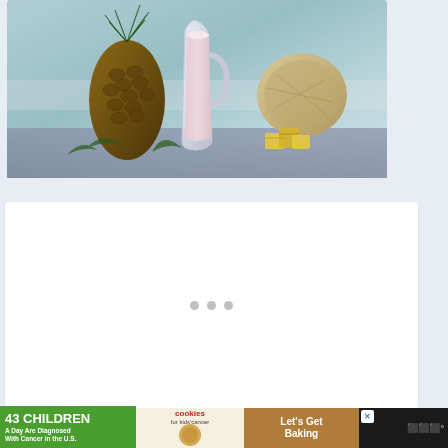[Figure (photo): A food/drink photo showing a pineapple, a glass pitcher filled with a pink/white creamy drink (pina colada style), a coconut, and pineapple chunks arranged on a surface with a blue-green background.]
[Figure (screenshot): A white content box with three gray loading dots centered in it, indicating a loading or placeholder state.]
43 CHILDREN A Day Are Diagnosed With Cancer in the U.S.
cookies for kids' cancer
Let's Get Baking